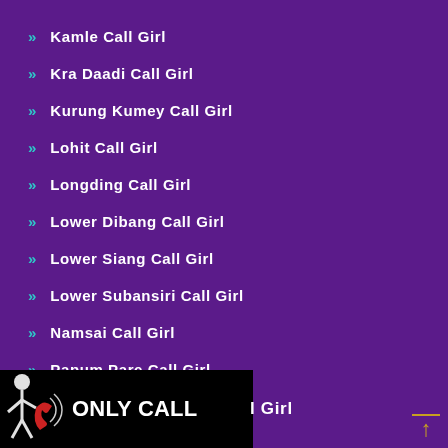Kamle Call Girl
Kra Daadi Call Girl
Kurung Kumey Call Girl
Lohit Call Girl
Longding Call Girl
Lower Dibang Call Girl
Lower Siang Call Girl
Lower Subansiri Call Girl
Namsai Call Girl
Papum Pare Call Girl
Tawang Call Girl
[Figure (logo): ONLY CALL logo with figure and phone icon on black background]
l Girl (partially visible, cut off)